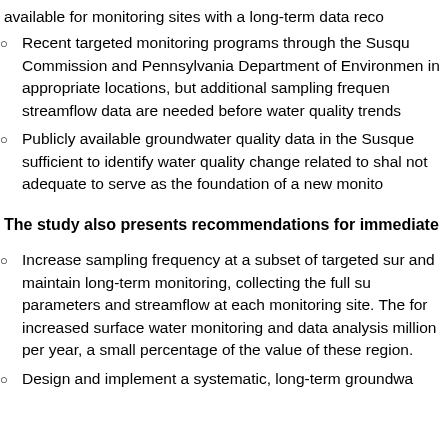available for monitoring sites with a long-term data reco
Recent targeted monitoring programs through the Susqu Commission and Pennsylvania Department of Environmen in appropriate locations, but additional sampling frequen streamflow data are needed before water quality trends
Publicly available groundwater quality data in the Susque sufficient to identify water quality change related to shal not adequate to serve as the foundation of a new monito
The study also presents recommendations for immediate
Increase sampling frequency at a subset of targeted sur and maintain long-term monitoring, collecting the full su parameters and streamflow at each monitoring site. The for increased surface water monitoring and data analysis million per year, a small percentage of the value of these region.
Design and implement a systematic, long-term groundwa